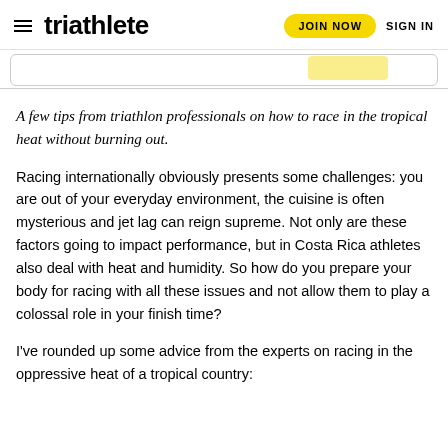triathlete   JOIN NOW   SIGN IN
[Figure (photo): Partial image visible at top of page with yellow graphic element on right side]
A few tips from triathlon professionals on how to race in the tropical heat without burning out.
Racing internationally obviously presents some challenges: you are out of your everyday environment, the cuisine is often mysterious and jet lag can reign supreme. Not only are these factors going to impact performance, but in Costa Rica athletes also deal with heat and humidity. So how do you prepare your body for racing with all these issues and not allow them to play a colossal role in your finish time?
I've rounded up some advice from the experts on racing in the oppressive heat of a tropical country: